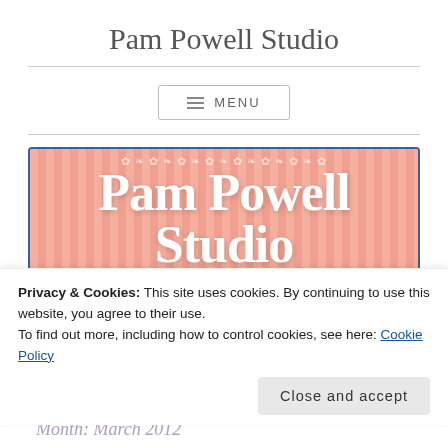Pam Powell Studio
[Figure (screenshot): Navigation menu button with hamburger icon and text MENU inside a bordered rectangle]
[Figure (illustration): Pam Powell Studio decorative banner with pink striped background and white serif text reading 'Pam Powell Studio' with decorative flourishes at top]
Privacy & Cookies: This site uses cookies. By continuing to use this website, you agree to their use.
To find out more, including how to control cookies, see here: Cookie Policy
Month: March 2012